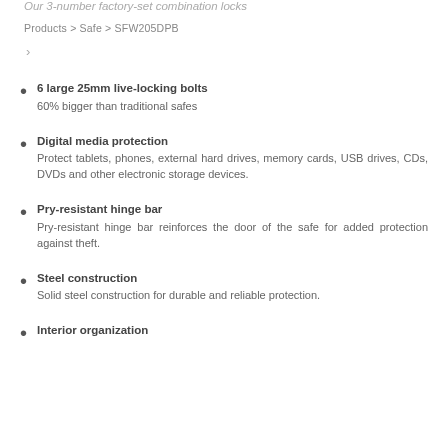Our 3-number factory-set combination locks
Products > Safe > SFW205DPB
6 large 25mm live-locking bolts
60% bigger than traditional safes
Digital media protection
Protect tablets, phones, external hard drives, memory cards, USB drives, CDs, DVDs and other electronic storage devices.
Pry-resistant hinge bar
Pry-resistant hinge bar reinforces the door of the safe for added protection against theft.
Steel construction
Solid steel construction for durable and reliable protection.
Interior organization